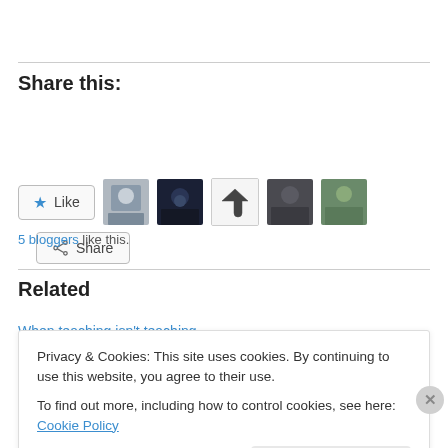Share this:
[Figure (other): Share button with share icon]
[Figure (other): Like button with star icon and 5 blogger avatars]
5 bloggers like this.
Related
When teaching isn't teaching
Privacy & Cookies: This site uses cookies. By continuing to use this website, you agree to their use.
To find out more, including how to control cookies, see here: Cookie Policy
Close and accept